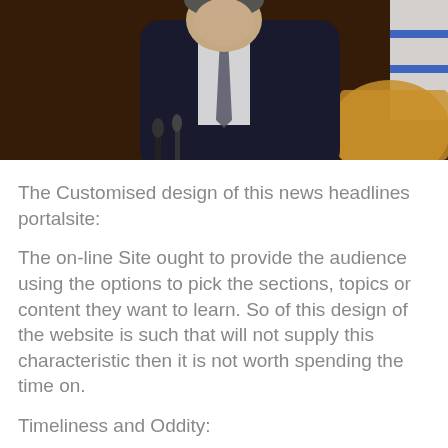[Figure (photo): A man in a dark suit and patterned tie seated or standing at a podium. Microphones visible in foreground. An Israeli flag and a tan leather chair visible in background. Dark wood paneling behind.]
The Customised design of this news headlines portalsite:
The on-line Site ought to provide the audience using the options to pick the sections, topics or content they want to learn. So of this design of the website is such that will not supply this characteristic then it is not worth spending the time on.
Timeliness and Oddity:
Time of the Character here. Much enjoy no one